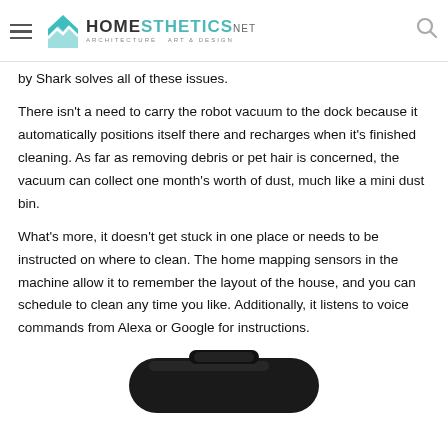HOMESTHETICS — ARCHITECTURE ART&DESIGN
by Shark solves all of these issues.
There isn't a need to carry the robot vacuum to the dock because it automatically positions itself there and recharges when it's finished cleaning. As far as removing debris or pet hair is concerned, the vacuum can collect one month's worth of dust, much like a mini dust bin.
What's more, it doesn't get stuck in one place or needs to be instructed on where to clean. The home mapping sensors in the machine allow it to remember the layout of the house, and you can schedule to clean any time you like. Additionally, it listens to voice commands from Alexa or Google for instructions.
[Figure (photo): Bottom view or partial top view of a dark-colored robot vacuum cleaner showing its circular shape and handle]